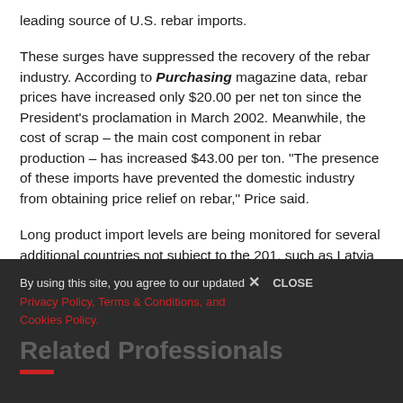leading source of U.S. rebar imports.
These surges have suppressed the recovery of the rebar industry. According to Purchasing magazine data, rebar prices have increased only $20.00 per net ton since the President's proclamation in March 2002. Meanwhile, the cost of scrap – the main cost component in rebar production – has increased $43.00 per ton. "The presence of these imports have prevented the domestic industry from obtaining price relief on rebar," Price said.
Long product import levels are being monitored for several additional countries not subject to the 201, such as Latvia and the Czech Republic, Price said.
By using this site, you agree to our updated Privacy Policy, Terms & Conditions, and Cookies Policy. CLOSE | Related Professionals